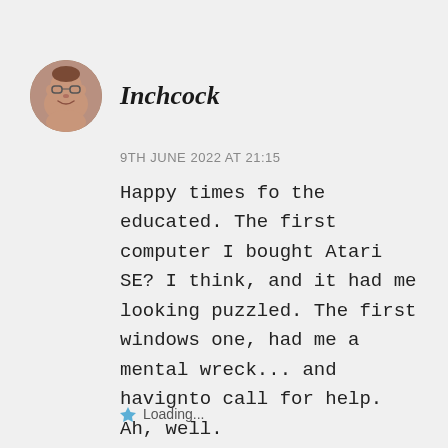[Figure (photo): Circular avatar photo of a bald older man with glasses, smiling, upper body visible.]
Inchcock
9TH JUNE 2022 AT 21:15
Happy times fo the educated. The first computer I bought Atari SE? I think, and it had me looking puzzled. The first windows one, had me a mental wreck... and havignto call for help. Ah, well.
★ Loading...